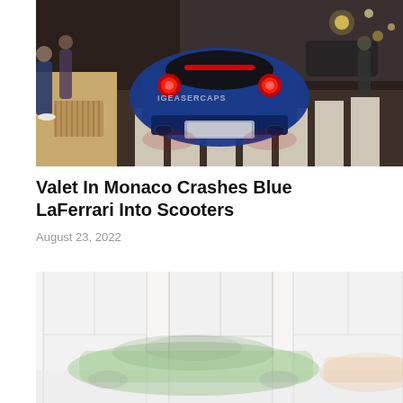[Figure (photo): Night-time street photo from behind of a blue LaFerrari supercar at a pedestrian crossing in Monaco, with red brake lights and taillights glowing, pedestrians visible on the left, watermark text overlaid on center of image]
Valet In Monaco Crashes Blue LaFerrari Into Scooters
August 23, 2022
[Figure (photo): Partially visible photo of a green supercar (appears to be a Lamborghini) inside a large garage or showroom with bright windows, image is faded and only partially shown]